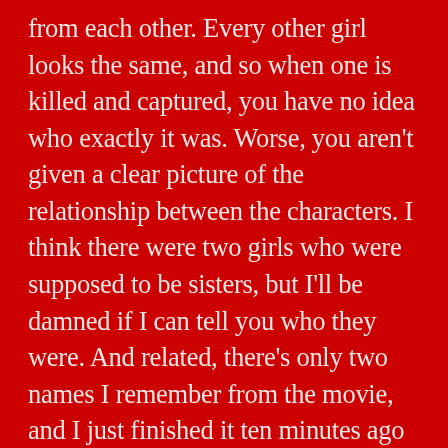from each other. Every other girl looks the same, and so when one is killed and captured, you have no idea who exactly it was. Worse, you aren't given a clear picture of the relationship between the characters. I think there were two girls who were supposed to be sisters, but I'll be damned if I can tell you who they were. And related, there's only two names I remember from the movie, and I just finished it ten minutes ago (at the time of the writing of this review).

Also, this is a dark and dingy film. While likely intentional, the way the film was shot really hindered from both potential enjoyment and potential comprehension. There's one scene with a girl being tortured, while scenes of two girls getting